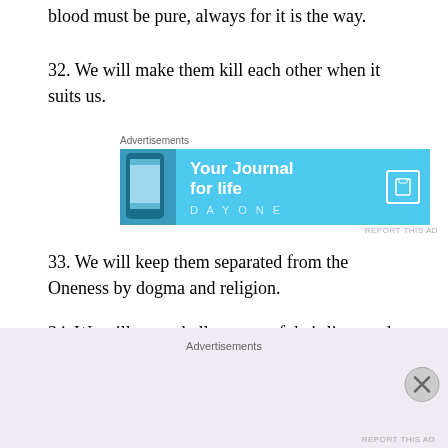blood must be pure, always for it is the way.
32. We will make them kill each other when it suits us.
[Figure (infographic): Advertisement banner for DayOne app: 'Your Journal for life' on cyan/blue background with phone image and bookmark icon]
33. We will keep them separated from the Oneness by dogma and religion.
34. We will control all aspects of their lives and tell them what to think and how.
35. We will guide them kindly and gently, letting
Advertisements